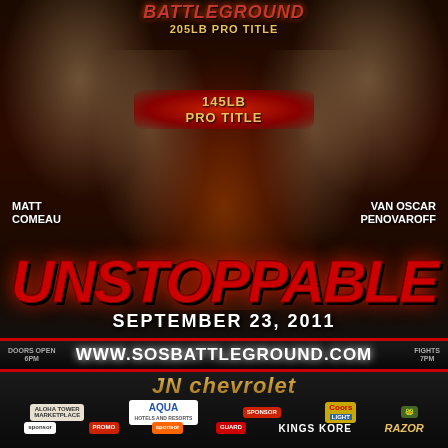[Figure (photo): MMA event promotional poster featuring fighters Matt Comeau and Van Oscar Penovaroff for SOS Battleground event]
BATTLEGROUND
205LB PRO TITLE
145LB PRO TITLE
MATT COMEAU
VAN OSCAR PENOVAROFF
UNSTOPPABLE
SEPTEMBER 23, 2011
DOORS OPEN 6PM
WWW.SOSBATTLEGROUND.COM
FIGHTS 7PM
JN Chevrolet
AQUA HOTELS AND RESORTS
Coors Light
KINGS KORE
RAZOR